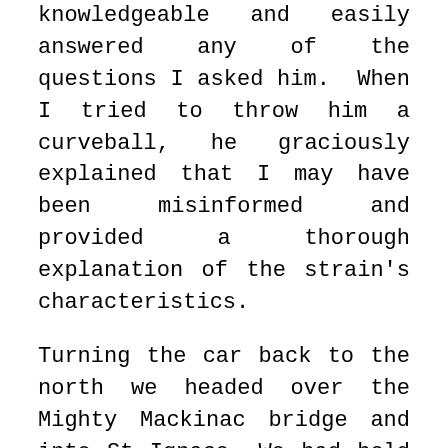knowledgeable and easily answered any of the questions I asked him.  When I tried to throw him a curveball, he graciously explained that I may have been misinformed and provided a thorough explanation of the strain's characteristics.
Turning the car back to the north we headed over the Mighty Mackinac bridge and into St Ignace. We had held off on getting anything to eat until this point.  We had our hearts set on burgers and fries from Clyde's Drive In.  Clyde's is located at 178 US-2, in Saint Ignace just a couple minutes past the bridge.  If you enjoy a classic American burger in an old